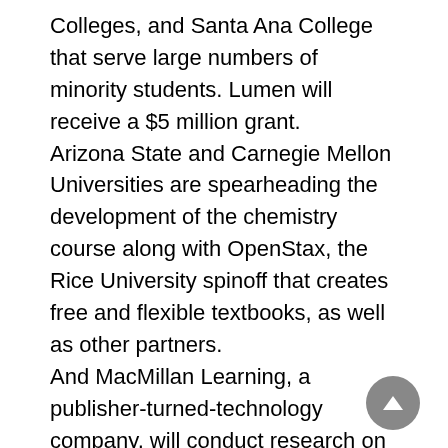Colleges, and Santa Ana College that serve large numbers of minority students. Lumen will receive a $5 million grant. Arizona State and Carnegie Mellon Universities are spearheading the development of the chemistry course along with OpenStax, the Rice University spinoff that creates free and flexible textbooks, as well as other partners. And MacMillan Learning, a publisher-turned-technology company, will conduct research on the introductory sociology and psychology courses it delivers through its digital platform Achieve to gauge whether they can deliver sufficiently equitable outcomes for racially and socioeconomically underrepresented students.